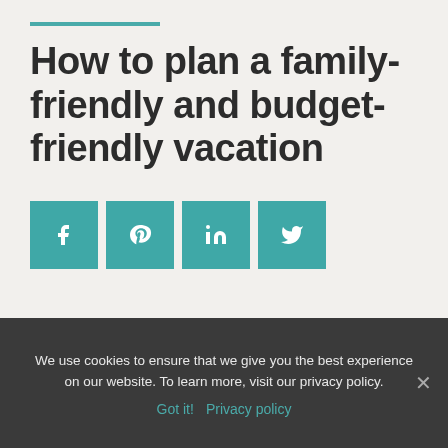How to plan a family-friendly and budget-friendly vacation
[Figure (infographic): Four teal social media share buttons for Facebook, Pinterest, LinkedIn, and Twitter]
We use cookies to ensure that we give you the best experience on our website. To learn more, visit our privacy policy.
Got it!  Privacy policy